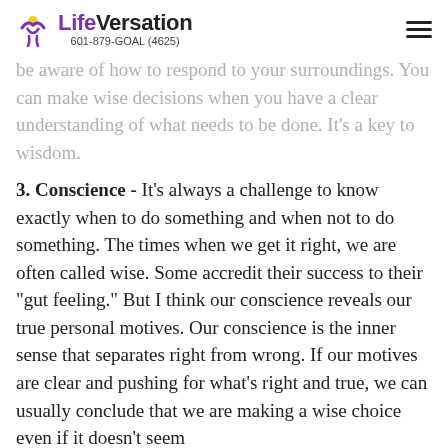LifeVersation 601-879-GOAL (4625)
be aware of how to respond to your surroundings. You can make wise decisions when you have a clear understanding of what needs to be done. It's a key to wisdom.
3. Conscience - It's always a challenge to know exactly when to do something and when not to do something. The times when we get it right, we are often called wise. Some accredit their success to their "gut feeling." But I think our conscience reveals our true personal motives. Our conscience is the inner sense that separates right from wrong. If our motives are clear and pushing for what's right and true, we can usually conclude that we are making a wise choice even if it doesn't seem